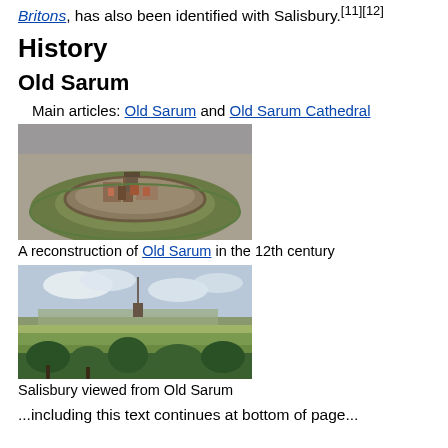Britons, has also been identified with Salisbury.[11][12]
History
Old Sarum
Main articles: Old Sarum and Old Sarum Cathedral
[Figure (photo): A scale model reconstruction of Old Sarum showing the medieval fortified town in the 12th century, viewed from above at an angle.]
A reconstruction of Old Sarum in the 12th century
[Figure (photo): A landscape photograph of Salisbury viewed from Old Sarum, showing the city and Salisbury Cathedral spire in the distance with green fields and trees in the foreground.]
Salisbury viewed from Old Sarum
...including this text continues at bottom...